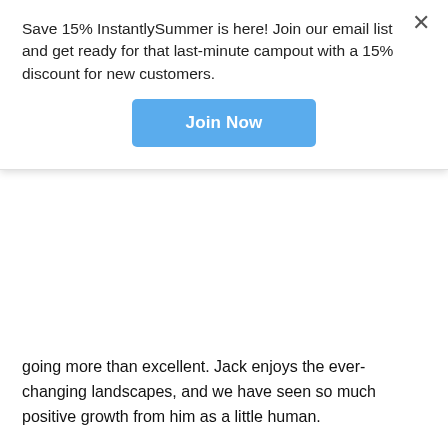Save 15% InstantlySummer is here! Join our email list and get ready for that last-minute campout with a 15% discount for new customers.
Join Now
going more than excellent. Jack enjoys the ever-changing landscapes, and we have seen so much positive growth from him as a little human.
If you are considering traveling more often with your young kids, please do it. You won't regret it, and the memories you will make will last you for a lifetime. Watching Jack play in the beach sand for the first time was unforgettable.
You have the thumbs up from The Marvelous Miners, we say get out there and adventure!